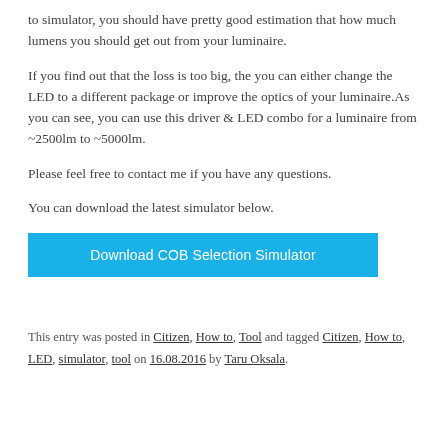to simulator, you should have pretty good estimation that how much lumens you should get out from your luminaire.
If you find out that the loss is too big, the you can either change the LED to a different package or improve the optics of your luminaire.As you can see, you can use this driver & LED combo for a luminaire from ~2500lm to ~5000lm.
Please feel free to contact me if you have any questions.
You can download the latest simulator below.
[Figure (other): Blue download button labeled 'Download COB Selection Simulator']
This entry was posted in Citizen, How to, Tool and tagged Citizen, How to, LED, simulator, tool on 16.08.2016 by Taru Oksala.